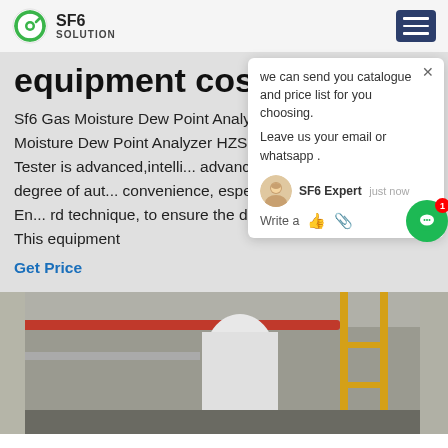SF6 SOLUTION
equipment cost
Sf6 Gas Moisture Dew Point Analyzer. Sf6 Gas Moisture Dew Point Analyzer HZSF... Dew Point Tester is advanced,intelli... advanced in principle, degree of aut... convenience, especially it adopts En... rd technique, to ensure the data to... steady. This equipment
Get Price
[Figure (screenshot): Chat popup overlay with SF6 Expert avatar, message about catalogue and price list, and Leave us your email or whatsapp field]
[Figure (photo): Industrial equipment photo showing pipes, cylindrical tank, and scaffolding in a building interior]